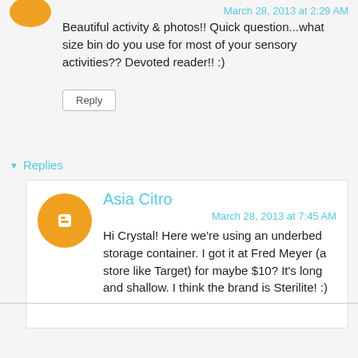March 28, 2013 at 2:29 AM
Beautiful activity & photos!! Quick question...what size bin do you use for most of your sensory activities?? Devoted reader!! :)
Reply
Replies
Asia Citro
March 28, 2013 at 7:45 AM
Hi Crystal! Here we're using an underbed storage container. I got it at Fred Meyer (a store like Target) for maybe $10? It's long and shallow. I think the brand is Sterilite! :)